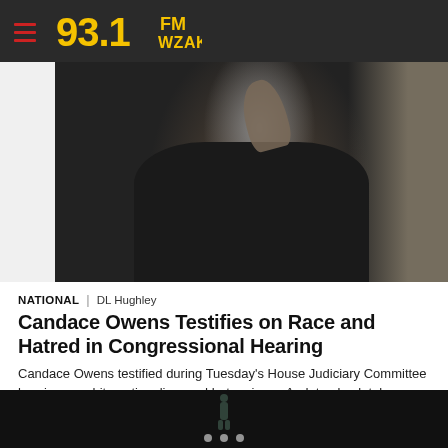93.1 FM WZAK
[Figure (photo): Person in black jacket raising hand, photographed from chest up against a beige/dark background]
NATIONAL | DL Hughley
Candace Owens Testifies on Race and Hatred in Congressional Hearing
Candace Owens testified during Tuesday’s House Judiciary Committee hearing on white nationalism and hate crimes. And, to absolutely no one’s surprise, things got pretty heated. For those of you who don’t know, Owens is a black conservative who also serves as the director of communications for the right-wing group Turning Point USA. During a speaking event for the […]
[Figure (photo): Dark background image partially visible at bottom of page with small figure]